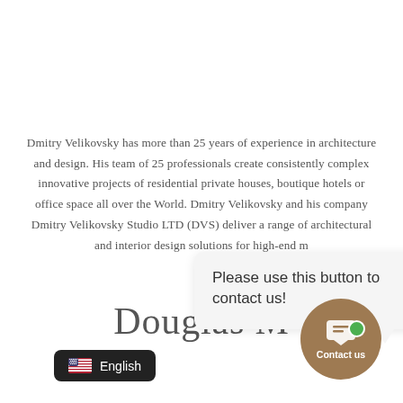Dmitry Velikovsky has more than 25 years of experience in architecture and design. His team of 25 professionals create consistently complex innovative projects of residential private houses, boutique hotels or office space all over the World. Dmitry Velikovsky and his company Dmitry Velikovsky Studio LTD (DVS) deliver a range of architectural and interior design solutions for high-end m
Douglas M
[Figure (other): Tooltip speech bubble with text 'Please use this button to contact us!']
[Figure (other): Contact us circular button with chat icon, brown background, and green online indicator dot]
[Figure (other): Language selector button showing US flag and 'English' text on dark background]